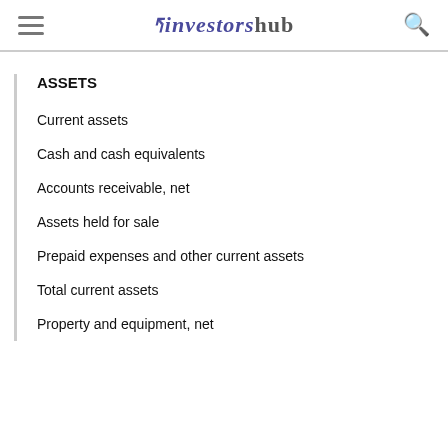investorshub
ASSETS
Current assets
Cash and cash equivalents
Accounts receivable, net
Assets held for sale
Prepaid expenses and other current assets
Total current assets
Property and equipment, net